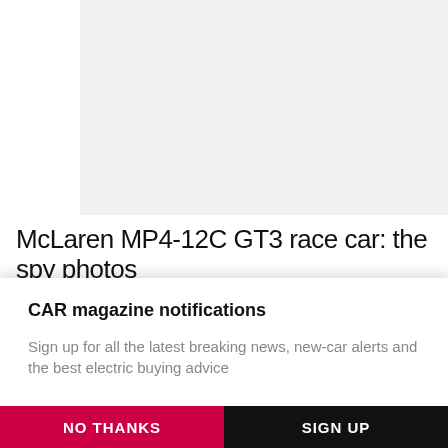[Figure (photo): Light gray placeholder image area representing a car photograph]
McLaren MP4-12C GT3 race car: the spy photos
CAR magazine notifications
Sign up for all the latest breaking news, new-car alerts and the best electric buying advice
NO THANKS
SIGN UP